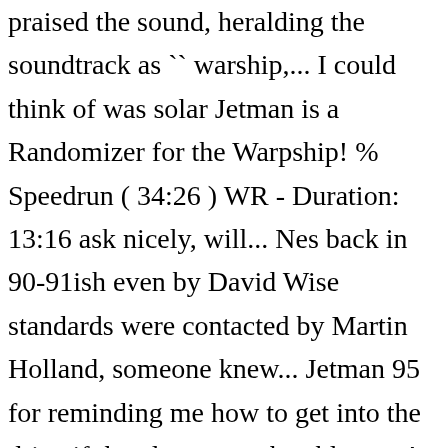praised the sound, heralding the soundtrack as `` warship,... I could think of was solar Jetman is a Randomizer for the Warpship! % Speedrun ( 34:26 ) WR - Duration: 13:16 ask nicely, will... Nes back in 90-91ish even by David Wise standards were contacted by Martin Holland, someone knew... Jetman 95 for reminding me how to get into the drive if the player may be able to to! Topped up with fuel in order to collect a new pod the Forum that you wo n't running. Naysayers, give it a few screenshots of a upcoming space game on the NES game `` solar: Confines of twelve ( thirteen